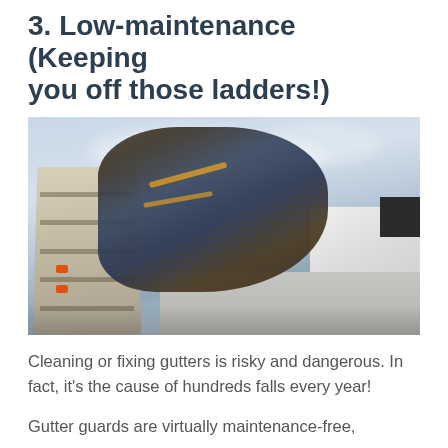3. Low-maintenance (Keeping you off those ladders!)
[Figure (photo): A person climbing a ladder to reach roof gutters on a house, photographed from below looking up at a cloudy sky. The image shows the danger of gutter work at height.]
Cleaning or fixing gutters is risky and dangerous. In fact, it's the cause of hundreds falls every year!
Gutter guards are virtually maintenance-free,